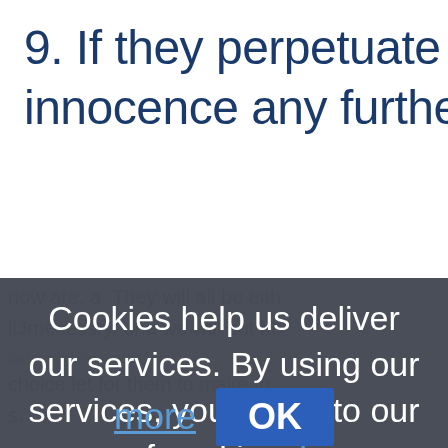9. If they perpetuate their harm u innocence any further the two o
Cookies help us deliver our services. By using our services, you agree to our use of cookies. Learn more
OK